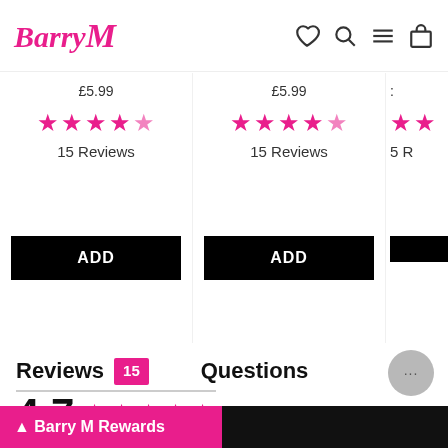Barry M
£5.99   £5.99
[Figure (other): Five pink stars rating (4.5 out of 5) shown three times for three products]
15 Reviews   15 Reviews   5 R
ADD   ADD
Reviews 15   Questions
4.7  ★★★★★  Based on 15 reviews
Barry M Rewards